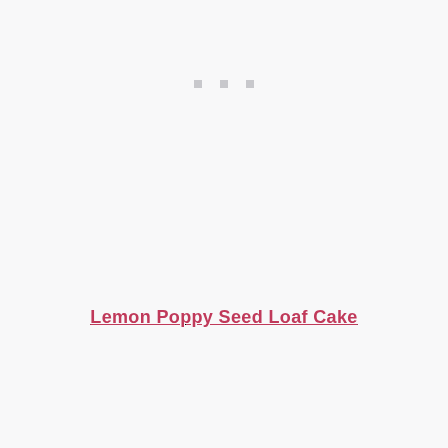[Figure (other): Three small grey square dots arranged horizontally, decorative separator]
Lemon Poppy Seed Loaf Cake